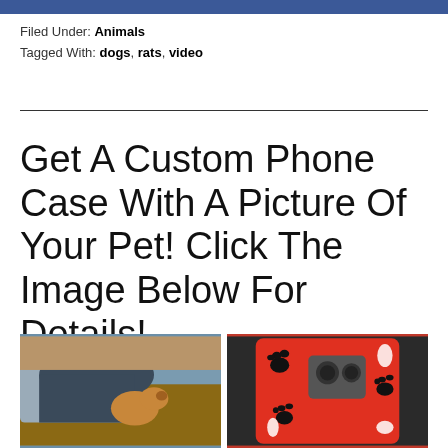Filed Under: Animals
Tagged With: dogs, rats, video
Get A Custom Phone Case With A Picture Of Your Pet! Click The Image Below For Details!
[Figure (photo): Two photos side by side: left shows a person with a dog on a couch, right shows a red phone case with black and white paw prints]